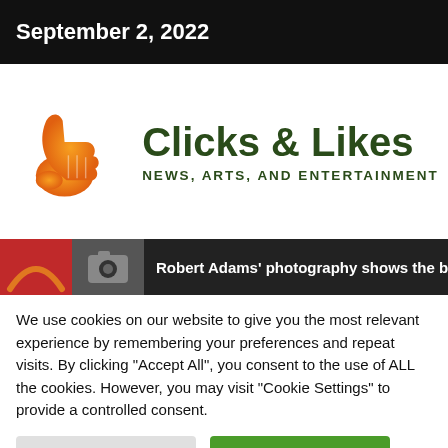September 2, 2022
[Figure (logo): Clicks & Likes logo with orange thumbs up icon and green text reading 'Clicks & Likes' with subtitle 'NEWS, ARTS, AND ENTERTAINMENT']
Robert Adams' photography shows the beauti
We use cookies on our website to give you the most relevant experience by remembering your preferences and repeat visits. By clicking "Accept All", you consent to the use of ALL the cookies. However, you may visit "Cookie Settings" to provide a controlled consent.
Cookie Settings | Accept All